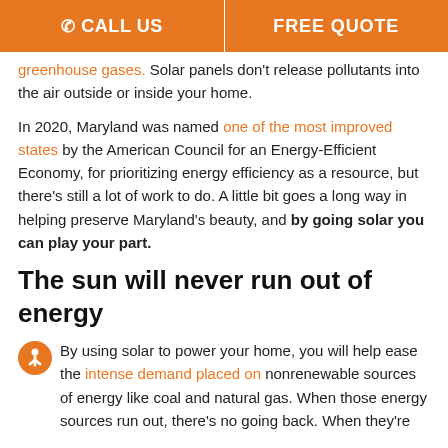CALL US | FREE QUOTE
greenhouse gases. Solar panels don't release pollutants into the air outside or inside your home.
In 2020, Maryland was named one of the most improved states by the American Council for an Energy-Efficient Economy, for prioritizing energy efficiency as a resource, but there's still a lot of work to do. A little bit goes a long way in helping preserve Maryland's beauty, and by going solar you can play your part.
The sun will never run out of energy
By using solar to power your home, you will help ease the intense demand placed on nonrenewable sources of energy like coal and natural gas. When those energy sources run out, there's no going back. When they're